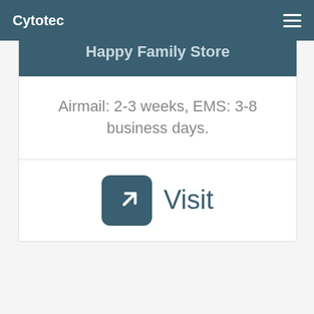Cytotec
Happy Family Store
Airmail: 2-3 weeks, EMS: 3-8 business days.
[Figure (other): External link icon (arrow) in a rounded dark teal square, followed by the word Visit in dark teal text]